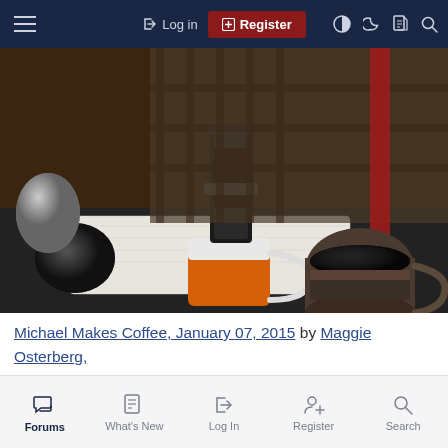Log in | Register
[Figure (photo): A person using an AeroPress coffee maker over an orange and white mug on a table with paper towels, with a second mug of black coffee visible on the right.]
Michael Makes Coffee, January 07, 2015 by Maggie Osterberg, on Flickr
[Figure (photo): Partial view of a second coffee-related photo, cropped at the bottom of the page.]
Forums | What's New | Log In | Register | Search